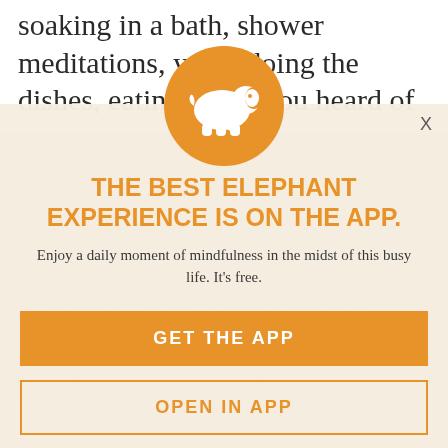soaking in a bath, shower meditations, yoga, doing the dishes, eating (have you heard of
[Figure (infographic): Modal popup overlay for Elephant app. Contains an orange circle with a white elephant logo at top, bold orange title 'THE BEST ELEPHANT EXPERIENCE IS ON THE APP.', subtitle 'Enjoy a daily moment of mindfulness in the midst of this busy life. It's free.', an orange 'GET THE APP' button, and an outlined 'OPEN IN APP' button. Background shows faded italic orange text from the article.]
THE BEST ELEPHANT EXPERIENCE IS ON THE APP.
Enjoy a daily moment of mindfulness in the midst of this busy life. It's free.
GET THE APP
OPEN IN APP